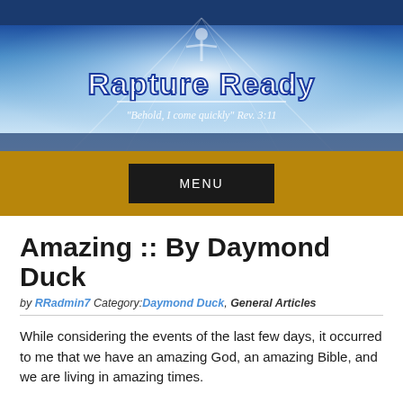[Figure (screenshot): Rapture Ready website header banner with blue sky background, figure with arms raised, and text 'Rapture Ready - Behold, I come quickly Rev. 3:11']
MENU
Amazing :: By Daymond Duck
by RRadmin7 Category:Daymond Duck, General Articles
While considering the events of the last few days, it occurred to me that we have an amazing God, an amazing Bible, and we are living in amazing times.
First, God promised to bless those that bless Israel and to curse those that curse Israel (Gen. 12:3).